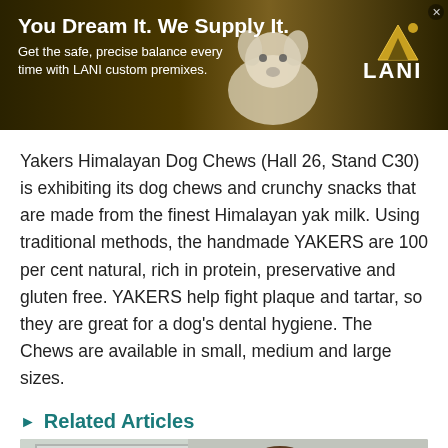[Figure (photo): LANI custom premixes banner advertisement. Dark golden-brown background with a white bulldog on the right, LANI logo with mountain/triangle icon top right. Text: 'You Dream It. We Supply It. Get the safe, precise balance every time with LANI custom premixes.']
Yakers Himalayan Dog Chews (Hall 26, Stand C30) is exhibiting its dog chews and crunchy snacks that are made from the finest Himalayan yak milk. Using traditional methods, the handmade YAKERS are 100 per cent natural, rich in protein, preservative and gluten free. YAKERS help fight plaque and tartar, so they are great for a dog's dental hygiene. The Chews are available in small, medium and large sizes.
Related Articles
[Figure (photo): Photo of a man in a white t-shirt, standing in front of a white panelled door on the left and a pale/grey stone wall on the right. The man appears to be middle-aged with dark hair.]